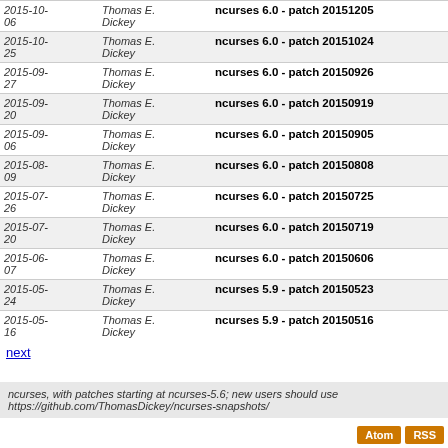| Date | Author | Patch | Links |
| --- | --- | --- | --- |
| 2015-10-06 | Thomas E. Dickey | ncurses 6.0 - patch 20151205 | blob | commitdiff | raw | diff to current |
| 2015-10-25 | Thomas E. Dickey | ncurses 6.0 - patch 20151024 | blob | commitdiff | raw | diff to current |
| 2015-09-27 | Thomas E. Dickey | ncurses 6.0 - patch 20150926 | blob | commitdiff | raw | diff to current |
| 2015-09-20 | Thomas E. Dickey | ncurses 6.0 - patch 20150919 | blob | commitdiff | raw | diff to current |
| 2015-09-06 | Thomas E. Dickey | ncurses 6.0 - patch 20150905 | blob | commitdiff | raw | diff to current |
| 2015-08-09 | Thomas E. Dickey | ncurses 6.0 - patch 20150808 | blob | commitdiff | raw | diff to current |
| 2015-07-26 | Thomas E. Dickey | ncurses 6.0 - patch 20150725 | blob | commitdiff | raw | diff to current |
| 2015-07-20 | Thomas E. Dickey | ncurses 6.0 - patch 20150719 | blob | commitdiff | raw | diff to current |
| 2015-06-07 | Thomas E. Dickey | ncurses 6.0 - patch 20150606 | blob | commitdiff | raw | diff to current |
| 2015-05-24 | Thomas E. Dickey | ncurses 5.9 - patch 20150523 | blob | commitdiff | raw | diff to current |
| 2015-05-16 | Thomas E. Dickey | ncurses 5.9 - patch 20150516 | blob | commitdiff | raw | diff to current |
next
ncurses, with patches starting at ncurses-5.6; new users should use https://github.com/ThomasDickey/ncurses-snapshots/